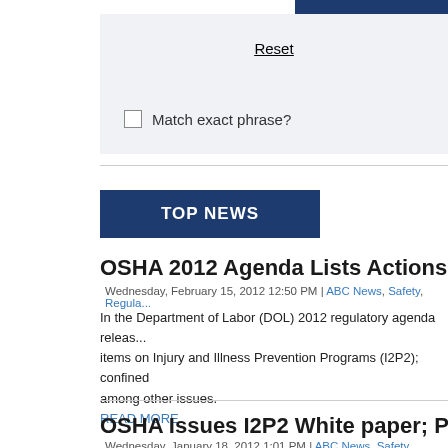Reset
Match exact phrase?
TOP NEWS
OSHA 2012 Agenda Lists Actions On I2P2,
Wednesday, February 15, 2012 12:50 PM | ABC News, Safety, Regula...
In the Department of Labor (DOL) 2012 regulatory agenda releas... items on Injury and Illness Prevention Programs (I2P2); confined among other issues.
READ MORE
OSHA Issues I2P2 White paper; Plans To H
Wednesday, January 18, 2012 1:01 PM | ABC News, Safety, Regulatio...